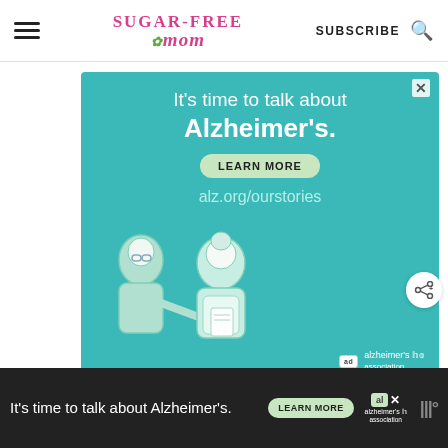Sugar-Free Mom — SUBSCRIBE
[Figure (screenshot): Alzheimer's Association advertisement with teal background. Text: It's time to talk about Alzheimer's. LEARN MORE. alz.org/ourstories. Illustration of two elderly people. Alzheimer's association logo.]
[Figure (screenshot): Bottom banner ad: It's time to talk about Alzheimer's. LEARN MORE button. Alzheimer's association logo.]